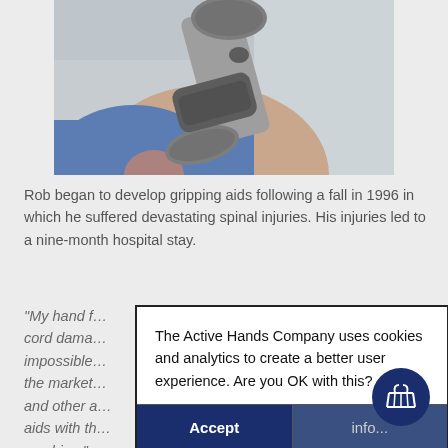[Figure (photo): Person holding a large dumbbell weight in a gym setting, wearing a blue sleeveless top and using a gripping aid on their hand.]
Rob began to develop gripping aids following a fall in 1996 in which he suffered devastating spinal injuries. His injuries led to a nine-month hospital stay.
“My hand f… the spinal cord dama… arly impossible… ducts on the market… n the gym and other a… n grippin… aids with th… her s… machine.”
The Active Hands Company uses cookies and analytics to create a better user experience. Are you OK with this?